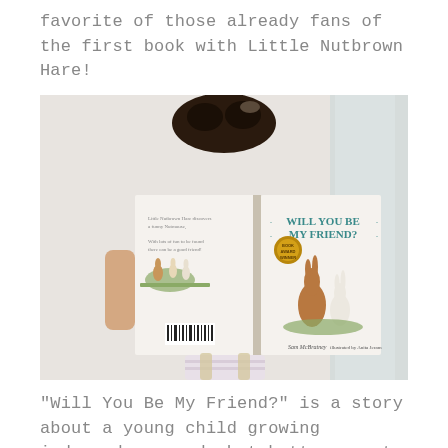favorite of those already fans of the first book with Little Nutbrown Hare!
[Figure (photo): A child holding up an open picture book 'Will You Be My Friend?' by Sam McBratney, illustrated by Anita Jeram. The child's face is hidden behind the book. The book cover shows two rabbits and the title in teal text.]
"Will You Be My Friend?" is a story about a young child growing independence and what better way to teach our little ones about being independent